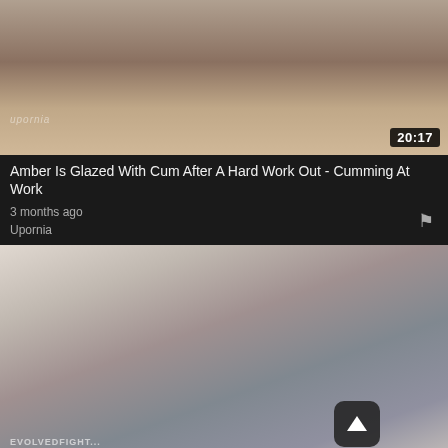[Figure (screenshot): Video thumbnail placeholder - first video, duration 20:17]
Amber Is Glazed With Cum After A Hard Work Out - Cumming At Work
3 months ago
Upornia
[Figure (screenshot): Video thumbnail placeholder - second video, duration 13:57, with scroll-up button overlay]
Kaija Eva mixed nude wrestling battle putting on her strapon - Putting On T